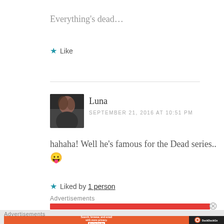Everything's dead...
Like
Luna
SEPTEMBER 21, 2016 AT 10:51 PM
hahaha! Well he's famous for the Dead series.. 😛
Liked by 1 person
Advertisements
Advertisements
[Figure (screenshot): DuckDuckGo advertisement banner: 'Search, browse, and email with more privacy. All in One Free App' with DuckDuckGo logo on dark right panel]